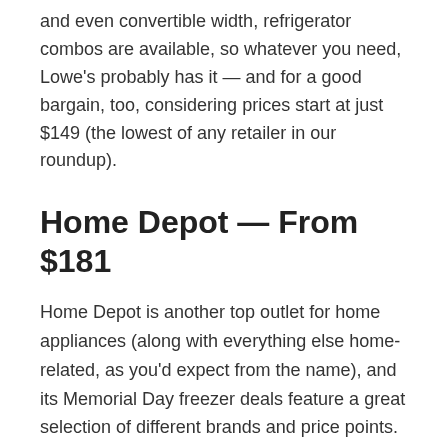and even convertible width, refrigerator combos are available, so whatever you need, Lowe's probably has it — and for a good bargain, too, considering prices start at just $149 (the lowest of any retailer in our roundup).
Home Depot — From $181
Home Depot is another top outlet for home appliances (along with everything else home-related, as you'd expect from the name), and its Memorial Day freezer deals feature a great selection of different brands and price points. There are compact freezers from brands like Whynter and Honeywell that are perfect for dorms, bedrooms, small apartments, and similar compact spaces, as